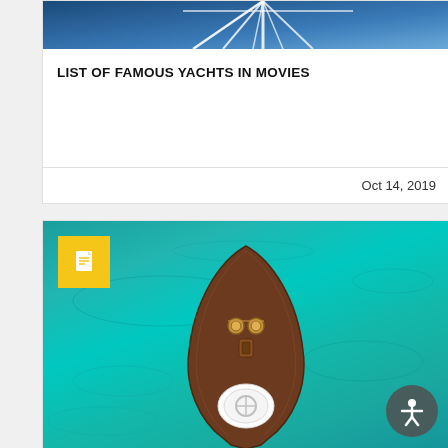[Figure (photo): Top portion of a yacht with white sail rigging against blue sky and water, cropped view from above]
LIST OF FAMOUS YACHTS IN MOVIES
Oct 14, 2019
[Figure (photo): Aerial top-down view of a classic wooden yacht bow in turquoise/teal ocean water. The boat is brown/mahogany colored with a white circle on the bow deck and deck hardware visible. A yellow document badge icon overlays the top-left corner. An accessibility icon button is in the bottom-right corner.]